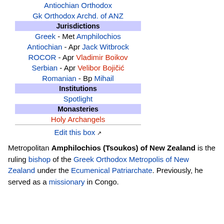| Antiochian Orthodox |
| Gk Orthodox Archd. of ANZ |
| Jurisdictions |
| Greek - Met Amphilochios |
| Antiochian - Apr Jack Witbrock |
| ROCOR - Apr Vladimir Boikov |
| Serbian - Apr Velibor Bojičić |
| Romanian - Bp Mihail |
| Institutions |
| Spotlight |
| Monasteries |
| Holy Archangels |
| Edit this box ↗ |
Metropolitan Amphilochios (Tsoukos) of New Zealand is the ruling bishop of the Greek Orthodox Metropolis of New Zealand under the Ecumenical Patriarchate. Previously, he served as a missionary in Congo.